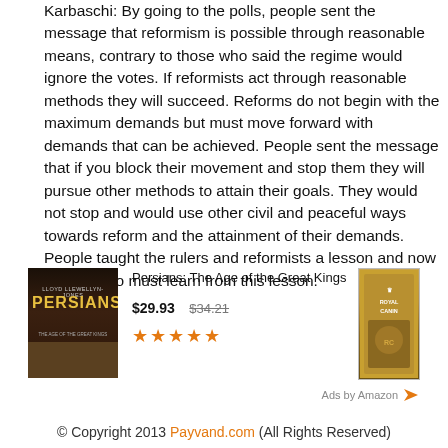Karbaschi: By going to the polls, people sent the message that reformism is possible through reasonable means, contrary to those who said the regime would ignore the votes. If reformists act through reasonable methods they will succeed. Reforms do not begin with the maximum demands but must move forward with demands that can be achieved. People sent the message that if you block their movement and stop them they will pursue other methods to attain their goals. They would not stop and would use other civil and peaceful ways towards reform and the attainment of their demands. People taught the rulers and reformists a lesson and now it is we who must learn from this lesson.
[Figure (advertisement): Amazon advertisement showing book 'Persians: The Age of the Great Kings' priced at $29.93 (original $34.21) with 4.5 star rating, alongside a Royal Canin pet food product image. 'Ads by Amazon' label at bottom right.]
© Copyright 2013 Payvand.com (All Rights Reserved)